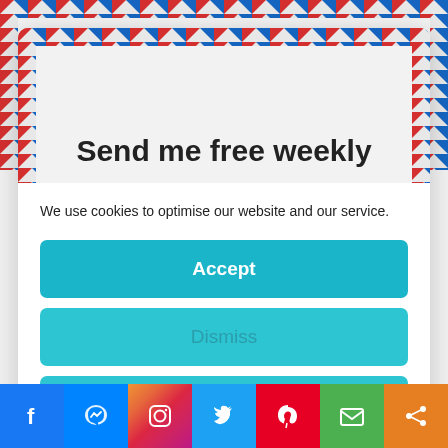Send me free weekly
We use cookies to optimise our website and our service.
Accept
Dismiss
Preferences
Cookie Policy   Privacy Policy
Enter your first name
[Figure (infographic): Social media share bar with Facebook, Messenger, Instagram, Twitter, Pinterest, Email, and Share buttons]